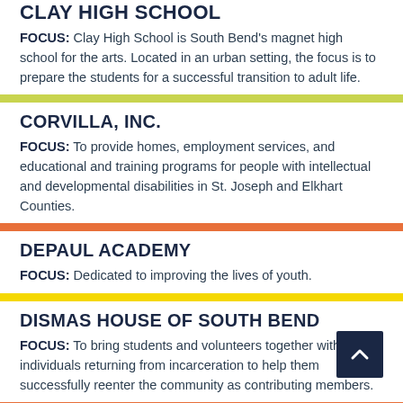CLAY HIGH SCHOOL
FOCUS: Clay High School is South Bend's magnet high school for the arts. Located in an urban setting, the focus is to prepare the students for a successful transition to adult life.
CORVILLA, INC.
FOCUS: To provide homes, employment services, and educational and training programs for people with intellectual and developmental disabilities in St. Joseph and Elkhart Counties.
DEPAUL ACADEMY
FOCUS: Dedicated to improving the lives of youth.
DISMAS HOUSE OF SOUTH BEND
FOCUS: To bring students and volunteers together with individuals returning from incarceration to help them successfully reenter the community as contributing members.
EL CAMPITO, INC. (CHILD DEVELOPMENT)
FOCUS: To promote the educational, social, and economic success